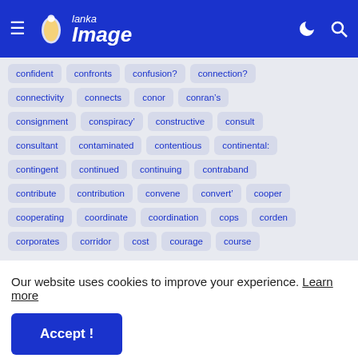[Figure (screenshot): Website navigation bar with hamburger menu, Lanka Image logo, moon icon, and search icon on blue background]
confident
confronts
confusion?
connection?
connectivity
connects
conor
conran&#8217;s
consignment
conspiracy&#8217;
constructive
consult
consultant
contaminated
contentious
continental:
contingent
continued
continuing
contraband
contribute
contribution
convene
convert'
cooper
cooperating
coordinate
coordination
cops
corden
corporates
corridor
cost
courage
course
Our website uses cookies to improve your experience. Learn more
Accept !